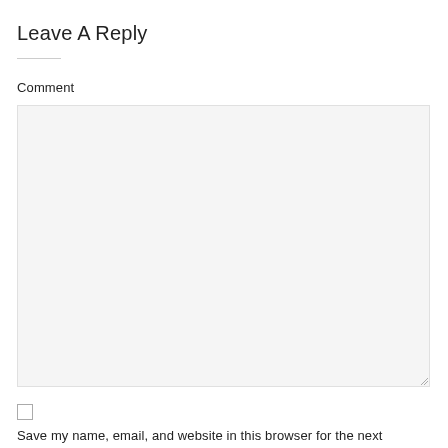Leave A Reply
Comment
[Figure (other): Empty comment textarea input box with light gray background and resize handle]
[Figure (other): Unchecked checkbox]
Save my name, email, and website in this browser for the next